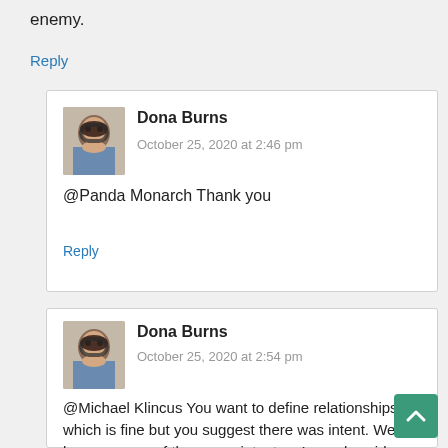enemy.
Reply
Dona Burns
October 25, 2020 at 2:46 pm
@Panda Monarch Thank you
Reply
Dona Burns
October 25, 2020 at 2:54 pm
@Michael Klincus You want to define relationships, which is fine but you suggest there was intent. We have zero proof there was intent so I merely said complacency is your